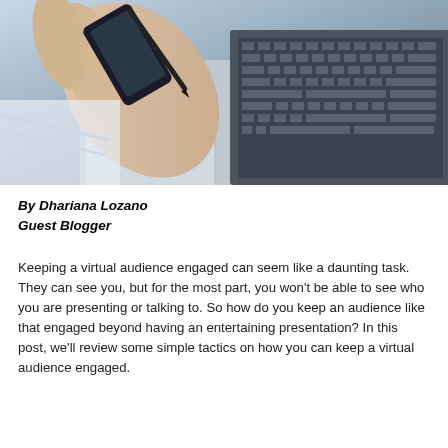[Figure (photo): Close-up photo of hands holding a smartphone over a laptop keyboard, working at a desk]
By Dhariana Lozano
Guest Blogger
Keeping a virtual audience engaged can seem like a daunting task. They can see you, but for the most part, you won't be able to see who you are presenting or talking to. So how do you keep an audience like that engaged beyond having an entertaining presentation? In this post, we'll review some simple tactics on how you can keep a virtual audience engaged.